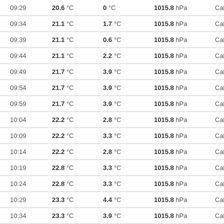| Time | Temperature | Dew Point | Pressure | Wind |
| --- | --- | --- | --- | --- |
| 09:29 | 20.6 °C | 0 °C | 1015.8 hPa | Calm |
| 09:34 | 21.1 °C | 1.7 °C | 1015.8 hPa | Calm |
| 09:39 | 21.1 °C | 0.6 °C | 1015.8 hPa | Calm |
| 09:44 | 21.1 °C | 2.2 °C | 1015.8 hPa | Calm |
| 09:49 | 21.7 °C | 3.9 °C | 1015.8 hPa | Calm |
| 09:54 | 21.7 °C | 3.9 °C | 1015.8 hPa | Calm |
| 09:59 | 21.7 °C | 3.9 °C | 1015.8 hPa | Calm |
| 10:04 | 22.2 °C | 2.8 °C | 1015.8 hPa | Calm |
| 10:09 | 22.2 °C | 3.3 °C | 1015.8 hPa | Calm |
| 10:14 | 22.2 °C | 2.8 °C | 1015.8 hPa | Calm |
| 10:19 | 22.8 °C | 3.3 °C | 1015.8 hPa | Calm |
| 10:24 | 22.8 °C | 3.3 °C | 1015.8 hPa | Calm |
| 10:29 | 23.3 °C | 4.4 °C | 1015.8 hPa | Calm |
| 10:34 | 23.3 °C | 3.9 °C | 1015.8 hPa | Calm |